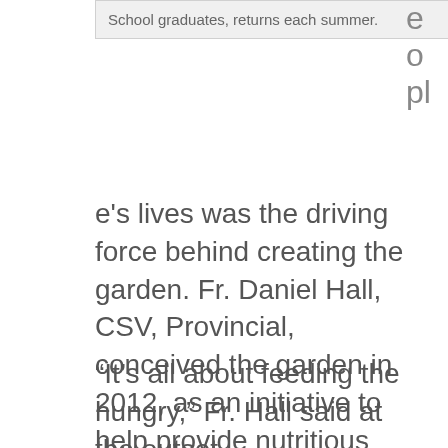School graduates, returns each summer.
e
o
pl
e's lives was the driving force behind creating the garden. Fr. Daniel Hall, CSV, Provincial, conceived the garden in 2012, as an initiative to help provide nutritious vegetables to families in the Northwest suburbs, struggling to put food on the table.
“It’s all about feeding the hungry,” Fr. Hall said at the outset.